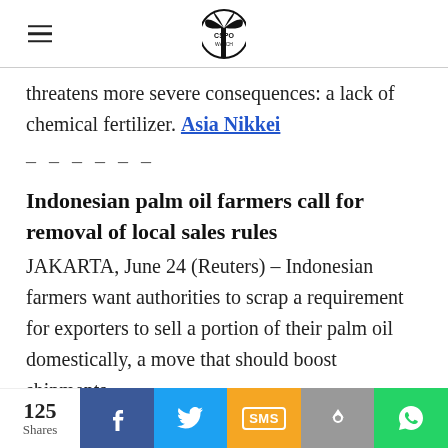CSPO Watch (logo with palm tree icon)
threatens more severe consequences: a lack of chemical fertilizer. Asia Nikkei
------
Indonesian palm oil farmers call for removal of local sales rules
JAKARTA, June 24 (Reuters) – Indonesian farmers want authorities to scrap a requirement for exporters to sell a portion of their palm oil domestically, a move that should boost shipments
125 Shares | Facebook | Twitter | SMS | Share | WhatsApp